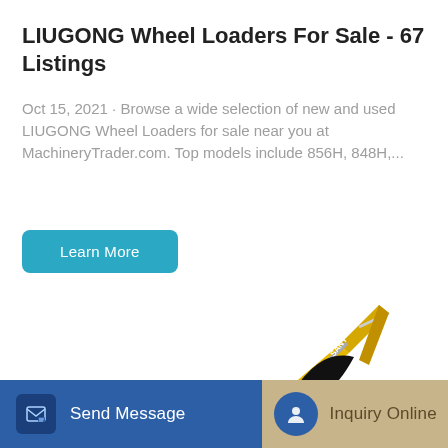LIUGONG Wheel Loaders For Sale - 67 Listings
Oct 15, 2021 · Browse a wide selection of new and used LIUGONG Wheel Loaders for sale near you at MachineryTrader.com. Top models include 856H, 848H,...
[Figure (other): Yellow SANY excavator/wheel loader machine on white background]
Send Message
Inquiry Online